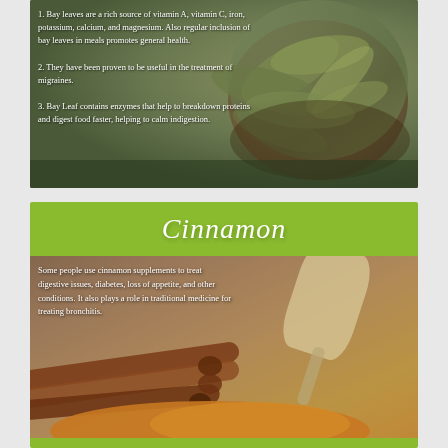[Figure (photo): Bay leaves in a wooden bowl on dark background with numbered health facts text overlay]
1. Bay leaves are a rich source of vitamin A, vitamin C, iron, potassium, calcium, and magnesium. Also regular inclusion of bay leaves in meals promotes general health.
2. They have been proven to be useful in the treatment of migraines.
3. Bay Leaf contains enzymes that help to breakdown proteins and digest food faster, helping to calm indigestion.
Cinnamon
[Figure (photo): Cinnamon sticks and cinnamon powder with a wooden scoop on a burlap background]
Some people use cinnamon supplements to treat digestive issues, diabetes, loss of appetite, and other conditions. It also plays a role in traditional medicine for treating bronchitis.